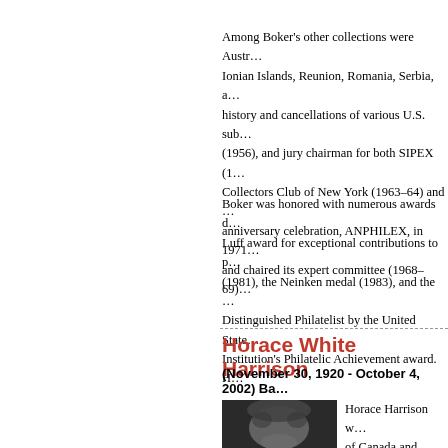Among Boker's other collections were Austr... Ionian Islands, Reunion, Romania, Serbia, a... history and cancellations of various U.S. sub... (1956), and jury chairman for both SIPEX (1... Collectors Club of New York (1963–64) and ... anniversary celebration, ANPHILEX, in 1971... and chaired its expert committee (1968–69).
Boker was honored with numerous awards... Luff award for exceptional contributions to p... (1981), the Neinken medal (1983), and the ... Distinguished Philatelist by the United State... Institution's Philatelic Achievement award. H...
Horace White Harrison
(November 30, 1920 - October 4, 2002) Ba...
[Figure (photo): Black and white portrait photo of Horace White Harrison, showing his face and upper body]
Horace Harrison w... of Canada and the... contributions to the... and growth of the A...